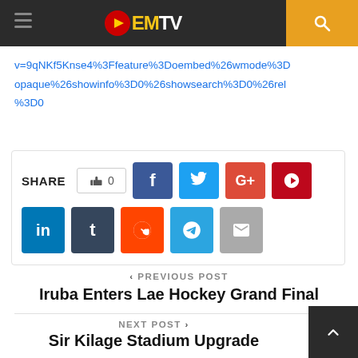EMTV
v=9qNKf5Knse4%3Ffeature%3Doembed%26wmode%3Dopaque%26showinfo%3D0%26showsearch%3D0%26rel%3D0
[Figure (infographic): Social share buttons including Facebook, Twitter, Google+, Pinterest, LinkedIn, Tumblr, Reddit, Telegram, Email, and a like counter showing 0]
PREVIOUS POST
Iruba Enters Lae Hockey Grand Final
NEXT POST
Sir Kilage Stadium Upgrade